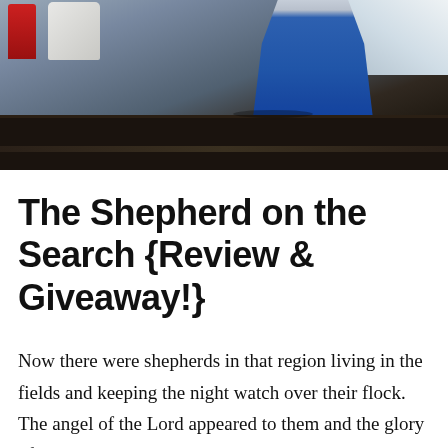[Figure (photo): Photograph showing a child or figure in blue clothing near a dark wooden table, with a red object and white/cream object on the left, and a bright window on the upper right. The bottom portion shows a dark table surface.]
The Shepherd on the Search {Review & Giveaway!}
Now there were shepherds in that region living in the fields and keeping the night watch over their flock.  The angel of the Lord appeared to them and the glory of the Lord shone around them, and they were struck with great fear.  The angel said to